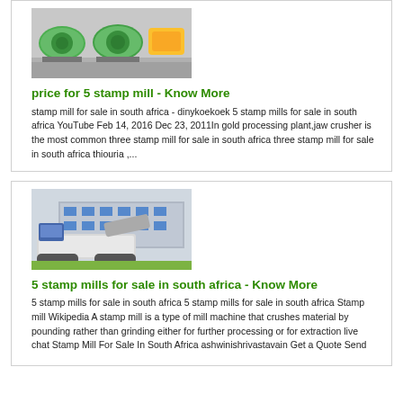[Figure (photo): Green industrial mill machines on a factory floor]
price for 5 stamp mill - Know More
stamp mill for sale in south africa - dinykoekoek 5 stamp mills for sale in south africa YouTube Feb 14, 2016 Dec 23, 2011In gold processing plant,jaw crusher is the most common three stamp mill for sale in south africa three stamp mill for sale in south africa thiouria ,...
[Figure (photo): Mobile crushing equipment on tracks in an industrial yard]
5 stamp mills for sale in south africa - Know More
5 stamp mills for sale in south africa 5 stamp mills for sale in south africa Stamp mill Wikipedia A stamp mill is a type of mill machine that crushes material by pounding rather than grinding either for further processing or for extraction live chat Stamp Mill For Sale In South Africa ashwinishrivastavain Get a Quote Send